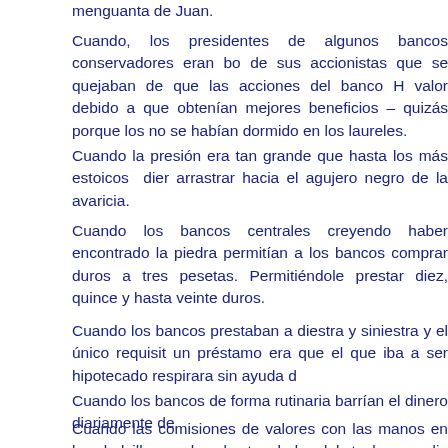menguanta de Juan.
Cuando, los presidentes de algunos bancos conservadores eran bo de sus accionistas que se quejaban de que las acciones del banco H valor debido a que obtenían mejores beneficios – quizás porque los no se habían dormido en los laureles.
Cuando la presión era tan grande que hasta los más estoicos dier arrastrar hacia el agujero negro de la avaricia.
Cuando los bancos centrales creyendo haber encontrado la piedra permitían a los bancos comprar duros a tres pesetas. Permitiéndole prestar diez, quince y hasta veinte duros.
Cuando los bancos prestaban a diestra y siniestra y el único requisit un préstamo era que el que iba a ser hipotecado respirara sin ayuda d
Cuando los bancos de forma rutinaria barrían el dinero diariamente de
Cuando las comisiones de valores con las manos en los bolsillos y la el otro lado del techo, medio silabando, se hacían los tontos sin decir un mar manso de buena pesca, y se apartaban de investigar a los pir